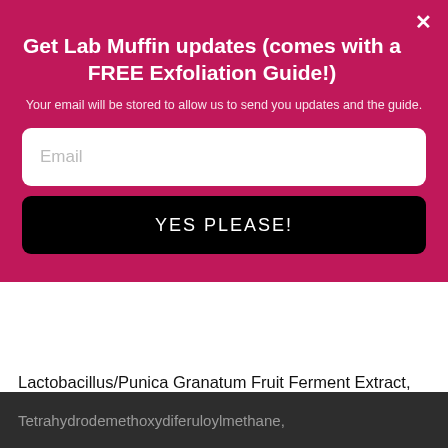Get Lab Muffin updates (comes with a FREE Exfoliation Guide!)
Your email will be stored to allow us to send you updates and the guide.
Email
YES PLEASE!
Lactobacillus/Punica Granatum Fruit Ferment Extract, Glycyrrhiza Glabra (Licorice) Root Extract, Vitis Vinifera (Grape) Juice Extract, Phyllanthus Emblica Fruit Extract, Hydrolyzed Wheat Protein, Tocopherol, Caprylhydroxamic Acid, Acetyl Glucosamine, Hydrolyzed Quinoa, Glutamylamidoethyl Imidazole, Dipotassium Glycyrrhizate, Tetrahydrodiferuloylmethane,
Tetrahydrodemethoxydiferuloylmethane,